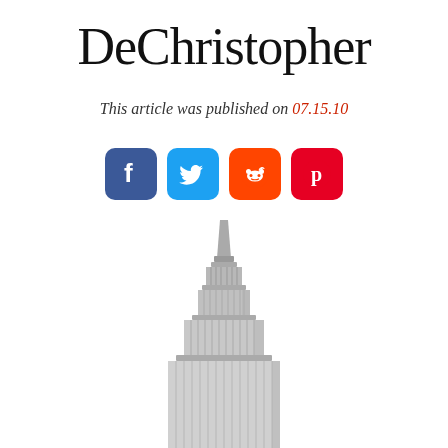DeChristopher
This article was published on 07.15.10
[Figure (illustration): Social media share icons: Facebook (blue), Twitter (light blue), Reddit (orange), Pinterest (red)]
[Figure (illustration): 3D rendered model of the top of the Empire State Building, art-deco style skyscraper with spire, silver/grey metallic appearance, white background]